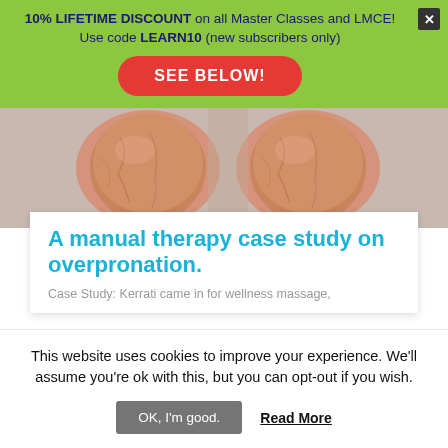10% LIFETIME DISCOUNT on all Master Classes and LMCE! Use code LEARN10 (new subscribers only)
SEE BELOW!
[Figure (photo): Close-up photo of two lower legs/calves showing overpronation, against a light gray background]
A manual therapy case study on overpronation.
Case Study: Kerrati came in for wellness massage,
This website uses cookies to improve your experience. We'll assume you're ok with this, but you can opt-out if you wish.
OK, I'm good.   Read More